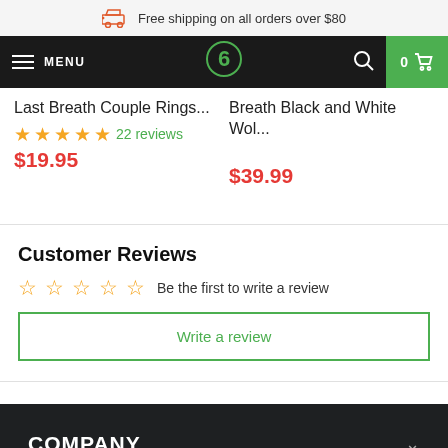Free shipping on all orders over $80
MENU | [logo] | 0 [cart]
Last Breath Couple Rings...
★★★★★ 22 reviews $19.95
Breath Black and White Wol...
$39.99
Customer Reviews
☆☆☆☆☆ Be the first to write a review
Write a review
COMPANY